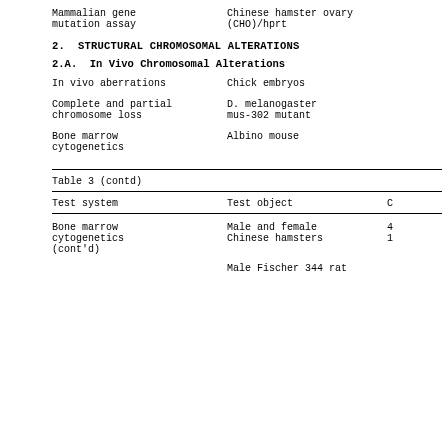Mammalian gene mutation assay	Chinese hamster ovary (CHO)/hprt
2. STRUCTURAL CHROMOSOMAL ALTERATIONS
2.A. In Vivo Chromosomal Alterations
In vivo aberrations	Chick embryos
Complete and partial chromosome loss	D. melanogaster mus-302 mutant
Bone marrow cytogenetics	Albino mouse
Table 3 (contd)
| Test system | Test object | C |
| --- | --- | --- |
| Bone marrow cytogenetics (cont'd) | Male and female Chinese hamsters | 4 1 |
|  | Male Fischer 344 rat |  |